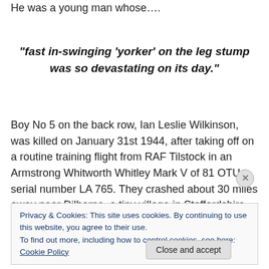He was a young man whose….
“fast in-swinging ‘yorker’ on the leg stump was so devastating on its day.”
Boy No 5 on the back row, Ian Leslie Wilkinson, was killed on January 31st 1944, after taking off on a routine training flight from RAF Tilstock in an Armstrong Whitworth Whitley Mark V of 81 OTU, serial number LA 765. They crashed about 30 miles away near Dilhorne, a tiny village in Staffordshire. Ian was 24 years old and he was training to
Privacy & Cookies: This site uses cookies. By continuing to use this website, you agree to their use.
To find out more, including how to control cookies, see here: Cookie Policy
Close and accept